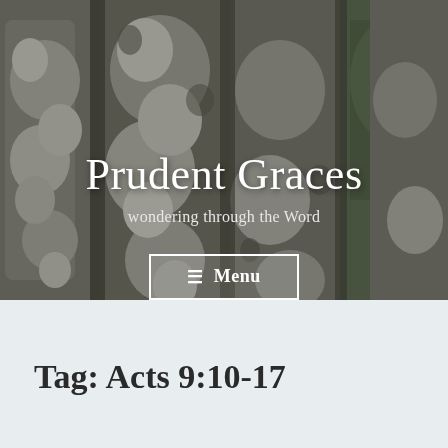[Figure (photo): Background photo of tree trunks with mottled bark in grey, white, and brown tones, with green foliage visible in the background.]
Prudent Graces
wondering through the Word
☰  Menu
Tag: Acts 9:10-17